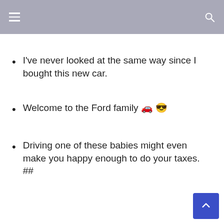navigation bar with menu and search icons
I've never looked at the same way since I bought this new car.
Welcome to the Ford family 🚗 😎
Driving one of these babies might even make you happy enough to do your taxes. ##